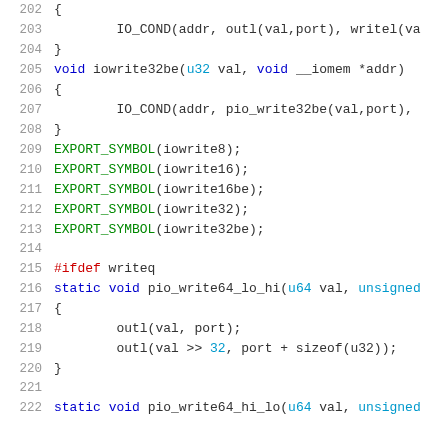Code listing lines 202-222, C source code showing iowrite32be, EXPORT_SYMBOL macros, and pio_write64 functions